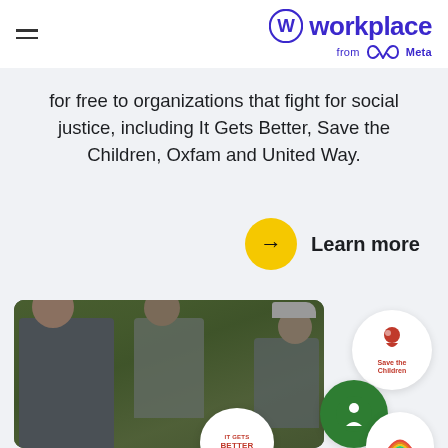workplace from Meta
for free to organizations that fight for social justice, including It Gets Better, Save the Children, Oxfam and United Way.
Learn more
[Figure (photo): Photo of workers/field staff in a forested area, with overlay circles showing logos of Save the Children, It Gets Better, and United Way organizations]